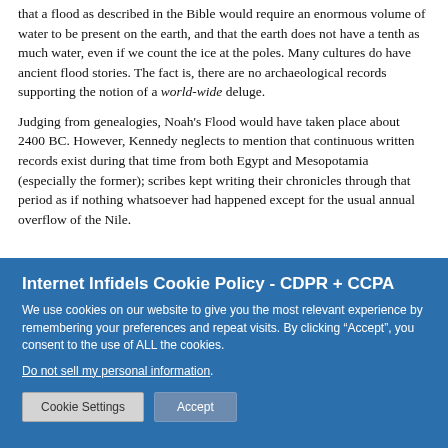that a flood as described in the Bible would require an enormous volume of water to be present on the earth, and that the earth does not have a tenth as much water, even if we count the ice at the poles. Many cultures do have ancient flood stories. The fact is, there are no archaeological records supporting the notion of a world-wide deluge.
Judging from genealogies, Noah's Flood would have taken place about 2400 BC. However, Kennedy neglects to mention that continuous written records exist during that time from both Egypt and Mesopotamia (especially the former); scribes kept writing their chronicles through that period as if nothing whatsoever had happened except for the usual annual overflow of the Nile.
Internet Infidels Cookie Policy - CDPR + CCPA
We use cookies on our website to give you the most relevant experience by remembering your preferences and repeat visits. By clicking “Accept”, you consent to the use of ALL the cookies.
Do not sell my personal information.